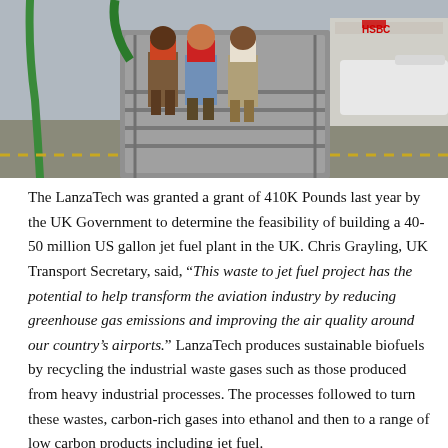[Figure (photo): Three people standing on aircraft boarding stairs on an airport tarmac. An HSBC branded building and a white airplane are visible in the background. A green fuel hose runs along the stairway railing.]
The LanzaTech was granted a grant of 410K Pounds last year by the UK Government to determine the feasibility of building a 40-50 million US gallon jet fuel plant in the UK. Chris Grayling, UK Transport Secretary, said, “This waste to jet fuel project has the potential to help transform the aviation industry by reducing greenhouse gas emissions and improving the air quality around our country’s airports.” LanzaTech produces sustainable biofuels by recycling the industrial waste gases such as those produced from heavy industrial processes. The processes followed to turn these wastes, carbon-rich gases into ethanol and then to a range of low carbon products including jet fuel.